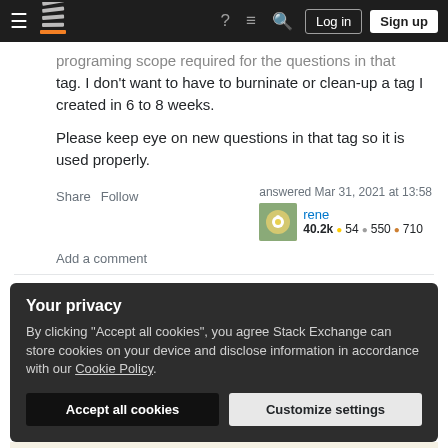Stack Exchange navigation bar with hamburger menu, logo, help, chat, search, Log in and Sign up buttons
programing scope required for the questions in that tag. I don't want to have to burninate or clean-up a tag I created in 6 to 8 weeks.
Please keep eye on new questions in that tag so it is used properly.
Share   Follow   answered Mar 31, 2021 at 13:58
rene 40.2k ● 54 ● 550 ● 710
Add a comment
Your privacy
By clicking "Accept all cookies", you agree Stack Exchange can store cookies on your device and disclose information in accordance with our Cookie Policy.
Accept all cookies   Customize settings
Welcome!